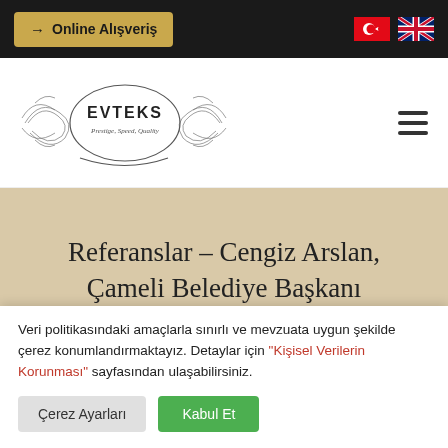→ Online Alışveriş
[Figure (logo): EVTEKS logo with ornate oval frame and decorative flourishes, text below reads 'Prestige, Speed, Quality']
Referanslar – Cengiz Arslan, Çameli Belediye Başkanı
Ana Sayfa   Şirket   Referanslar   Cengiz Arslan
Veri politikasındaki amaçlarla sınırlı ve mevzuata uygun şekilde çerez konumlandırmaktayız. Detaylar için "Kişisel Verilerin Korunması" sayfasından ulaşabilirsiniz.
Çerez Ayarları   Kabul Et